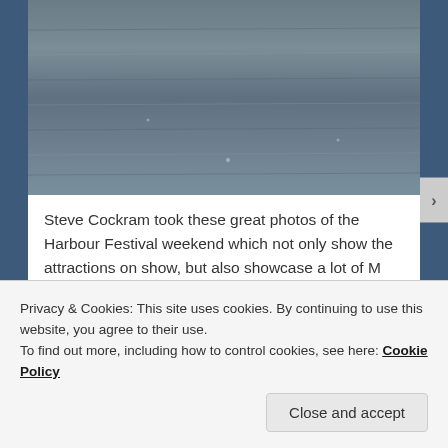[Figure (photo): Aerial or close-up photo of water surface with rippling texture, dark grey-blue tones]
Steve Cockram took these great photos of the Harbour Festival weekend which not only show the attractions on show, but also showcase a lot of M Shed's Bristol-built displays. He's kindly given permission to reproduce the photos here, you can also check out his facebook page for more!
[Figure (photo): Two side-by-side photographs of harbour/dockside area showing buildings and cranes]
Privacy & Cookies: This site uses cookies. By continuing to use this website, you agree to their use.
To find out more, including how to control cookies, see here: Cookie Policy